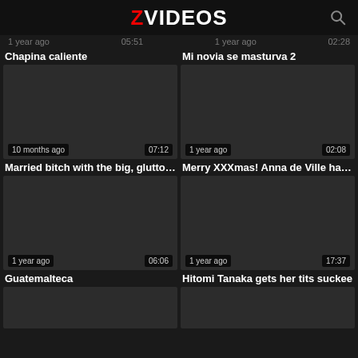ZVIDEOS
1 year ago   05:51   1 year ago   02:28
Chapina caliente
Mi novia se masturva 2
[Figure (screenshot): Dark video thumbnail with metadata: 10 months ago, 07:12]
[Figure (screenshot): Dark video thumbnail with metadata: 1 year ago, 02:08]
Married bitch with the big, glutton...
Merry XXXmas! Anna de Ville hard...
[Figure (screenshot): Dark video thumbnail with metadata: 1 year ago, 06:06]
[Figure (screenshot): Dark video thumbnail with metadata: 1 year ago, 17:37]
Guatemalteca
Hitomi Tanaka gets her tits suckee
[Figure (screenshot): Partially visible dark video thumbnail at bottom left]
[Figure (screenshot): Partially visible dark video thumbnail at bottom right]